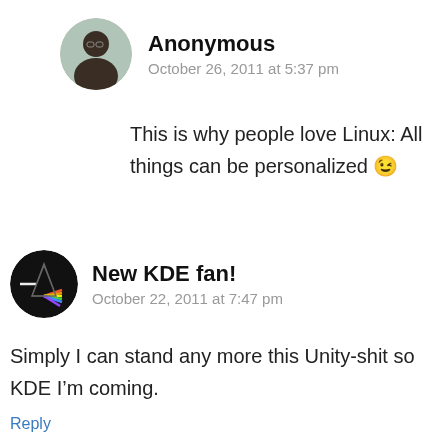[Figure (photo): Circular avatar of a person wearing glasses, against an outdoor background]
Anonymous
October 26, 2011 at 5:37 pm
This is why people love Linux: All things can be personalized 😉
[Figure (photo): Circular dark avatar with Pink Floyd Dark Side of the Moon prism/rainbow design]
New KDE fan!
October 22, 2011 at 7:47 pm
Simply I can stand any more this Unity-shit so KDE I'm coming.
Reply